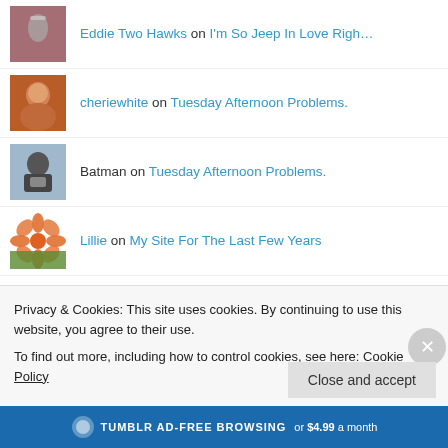Eddie Two Hawks on I'm So Jeep In Love Righ…
cheriewhite on Tuesday Afternoon Problems.
Batman on Tuesday Afternoon Problems.
Lillie on My Site For The Last Few Years
Debora Neverman on Poetry For People / The Famous…
McMellon on The Tall Weed.
Privacy & Cookies: This site uses cookies. By continuing to use this website, you agree to their use.
To find out more, including how to control cookies, see here: Cookie Policy
Close and accept
TUMBLR AD-FREE BROWSING or $4.99 a month